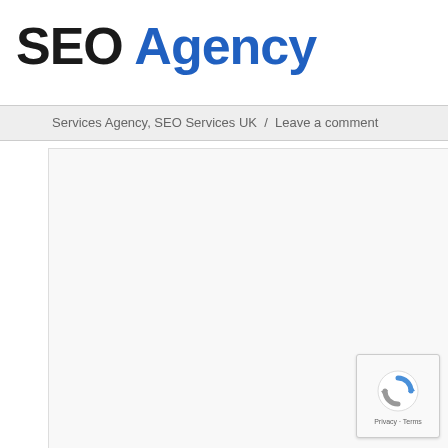SEO Agency
Services Agency, SEO Services UK  /  Leave a comment
[Figure (other): Large empty content area box with light gray background]
[Figure (other): reCAPTCHA widget with circular logo showing blue and gray arrows, Privacy - Terms text below]